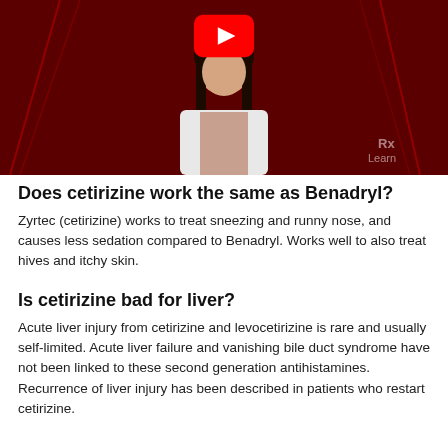[Figure (photo): YouTube video thumbnail showing a woman in a white coat against a dark red background with abstract lines. A red YouTube play button is visible at the top center. An 'RxLearn' watermark is in the bottom right.]
Does cetirizine work the same as Benadryl?
Zyrtec (cetirizine) works to treat sneezing and runny nose, and causes less sedation compared to Benadryl. Works well to also treat hives and itchy skin.
Is cetirizine bad for liver?
Acute liver injury from cetirizine and levocetirizine is rare and usually self-limited. Acute liver failure and vanishing bile duct syndrome have not been linked to these second generation antihistamines. Recurrence of liver injury has been described in patients who restart cetirizine.